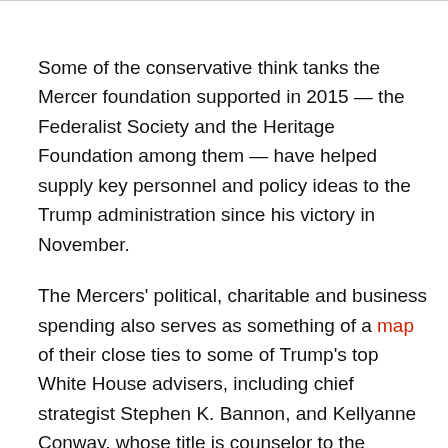Some of the conservative think tanks the Mercer foundation supported in 2015 — the Federalist Society and the Heritage Foundation among them — have helped supply key personnel and policy ideas to the Trump administration since his victory in November.
The Mercers' political, charitable and business spending also serves as something of a map of their close ties to some of Trump's top White House advisers, including chief strategist Stephen K. Bannon, and Kellyanne Conway, whose title is counselor to the president.
The Mercers rarely comment publicly about the